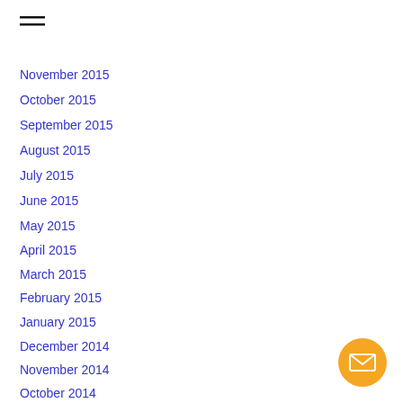[Figure (other): Hamburger menu icon (three horizontal lines)]
November 2015
October 2015
September 2015
August 2015
July 2015
June 2015
May 2015
April 2015
March 2015
February 2015
January 2015
December 2014
November 2014
October 2014
September 2014
August 2014
July 2014
June 2014
[Figure (other): Orange circular email/envelope button in the bottom-right corner]